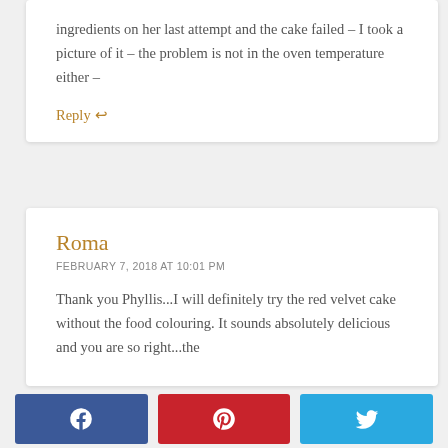ingredients on her last attempt and the cake failed – I took a picture of it – the problem is not in the oven temperature either –
Reply ↩
Roma
FEBRUARY 7, 2018 AT 10:01 PM
Thank you Phyllis...I will definitely try the red velvet cake without the food colouring. It sounds absolutely delicious and you are so right...the
[Figure (other): Social share buttons: Facebook (blue), Pinterest (red), Twitter (light blue)]